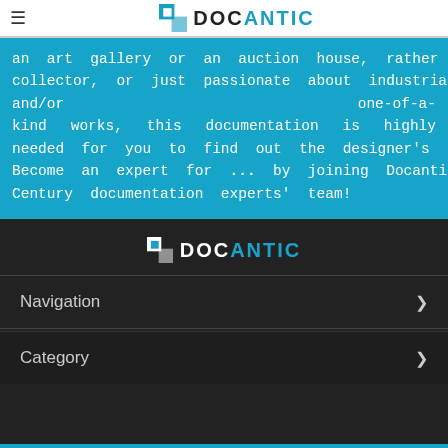DOCANTIC
an art gallery or an auction house, rather you are a collector, or just passionate about industrial design and/or one-of-a-kind works, this documentation is highly needed for you to find out the designer's identity Become an expert for ... by joining Docantic and its 20th Century documentation experts' team!
[Figure (logo): Docantic logo in dark section]
Navigation
Category